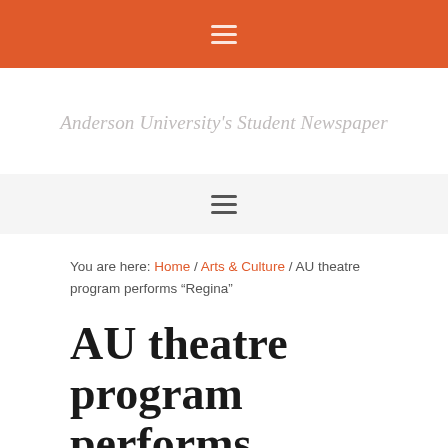≡
Anderson University's Student Newspaper
[Figure (other): Navigation menu bar with hamburger icon on light gray background]
You are here: Home / Arts & Culture / AU theatre program performs "Regina"
AU theatre program performs "Regina"